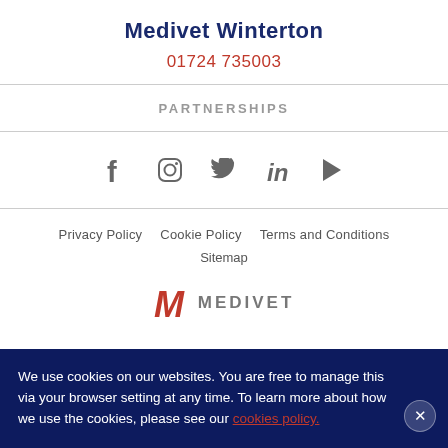Medivet Winterton
01724 735003
PARTNERSHIPS
[Figure (infographic): Social media icons row: Facebook, Instagram, Twitter, LinkedIn, YouTube/Play button]
Privacy Policy   Cookie Policy   Terms and Conditions   Sitemap
[Figure (logo): Medivet logo with red M and grey MEDIVET text]
We use cookies on our websites. You are free to manage this via your browser setting at any time. To learn more about how we use the cookies, please see our cookies policy.